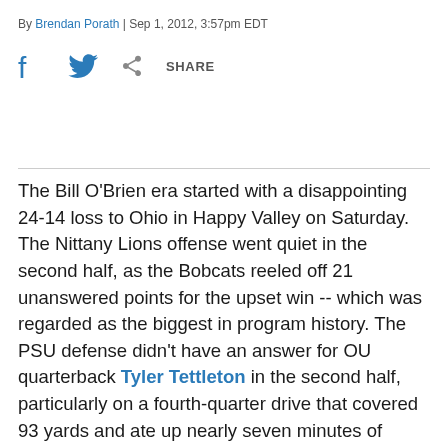By Brendan Porath | Sep 1, 2012, 3:57pm EDT
[Figure (other): Social share bar with Facebook icon, Twitter bird icon, and a share icon with SHARE text]
The Bill O'Brien era started with a disappointing 24-14 loss to Ohio in Happy Valley on Saturday. The Nittany Lions offense went quiet in the second half, as the Bobcats reeled off 21 unanswered points for the upset win -- which was regarded as the biggest in program history. The PSU defense didn't have an answer for OU quarterback Tyler Tettleton in the second half, particularly on a fourth-quarter drive that covered 93 yards and ate up nearly seven minutes of clock. Tettleton finished it with a pretty pass to the corner of